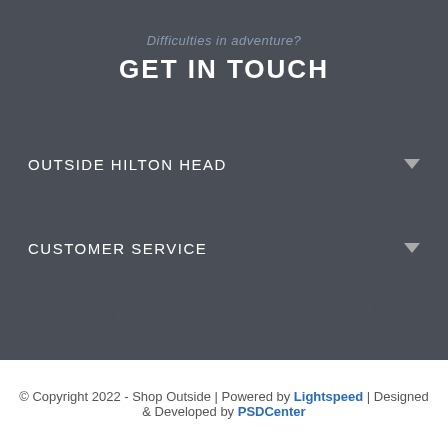Difficulties in adventure?
GET IN TOUCH
OUTSIDE HILTON HEAD
CUSTOMER SERVICE
ABOUT OUTSIDE
FOLLOW US ON
PAYMENT METHOD
© Copyright 2022 - Shop Outside | Powered by Lightspeed | Designed & Developed by PSDCenter